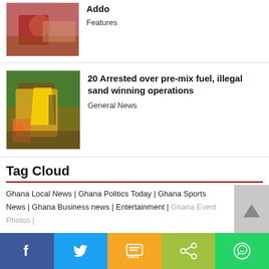[Figure (photo): Person in red shirt at a desk, partially visible]
Addo
Features
[Figure (photo): Yellow excavator/construction equipment near trees with workers]
20 Arrested over pre-mix fuel, illegal sand winning operations
General News
Tag Cloud
Ghana Local News | Ghana Politics Today | Ghana Sports News | Ghana Business news | Entertainment | Ghana Event Photos |
News in Ghana | News Today | Ghana News
IMF Conditions for Ghana
| Daily Graphic News | Financial Sector Clean-Up | coronavirus in ghana
Facebook | Twitter | SMS | Share | WhatsApp